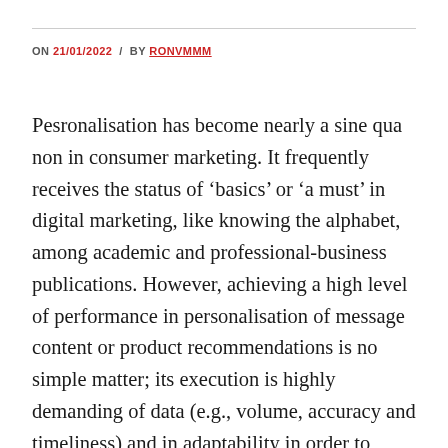ON 21/01/2022 / BY RONVMMM
Pesronalisation has become nearly a sine qua non in consumer marketing. It frequently receives the status of ‘basics’ or ‘a must’ in digital marketing, like knowing the alphabet, among academic and professional-business publications. However, achieving a high level of performance in personalisation of message content or product recommendations is no simple matter; its execution is highly demanding of data (e.g., volume, accuracy and timeliness) and in adaptability in order to reach high quality of personalised outcomes. Companies often reach only intermediary levels of